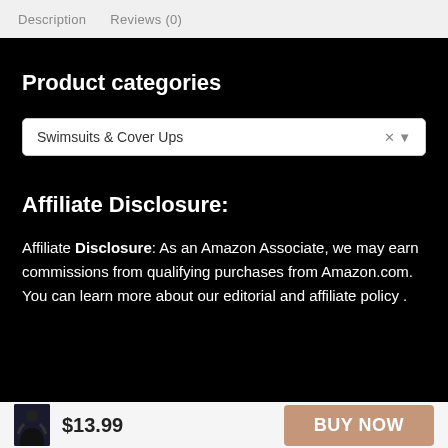Description   Reviews (0)
Product categories
Swimsuits & Cover Ups
Affiliate Disclosure:
Affiliate Disclosure: As an Amazon Associate, we may earn commissions from qualifying purchases from Amazon.com. You can learn more about our editorial and affiliate policy .
$13.99
BUY NOW